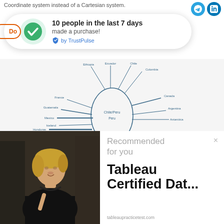Coordinate system instead of a Cartesian system.
[Figure (infographic): TrustPulse social proof notification showing a green checkmark icon in a circle, bold text '10 people in the last 7 days', subtitle 'made a purchase!', and 'by TrustPulse' branding with a shield icon. Partial orange button labeled 'Do' visible on left.]
[Figure (network-graph): Radial/spoke diagram centered on an oval shape labeled 'Chile/Peru', with lines radiating outward to various country labels including Ethiopia, Ecuador, Chile, Colombia, France, Canada, Guatemala, Argentina, Antarctica, Mexico, Peru, Panama, Tonga, United States, Saudi Arabia, Sudan, Kenya, Honduras, Papua New Guinea, Russia, and others.]
[Figure (photo): Photo of a smiling blonde woman wearing a black outfit, appears to be in an indoor setting with blurred background.]
Recommended for you
Tableau Certified Dat...
tableaupracticetest.com